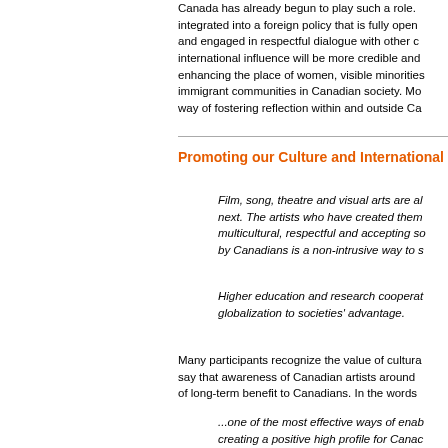Canada has already begun to play such a role. integrated into a foreign policy that is fully open and engaged in respectful dialogue with other c international influence will be more credible ano enhancing the place of women, visible minorities immigrant communities in Canadian society. Mo way of fostering reflection within and outside Ca
Promoting our Culture and International
Film, song, theatre and visual arts are al next. The artists who have created them multicultural, respectful and accepting so by Canadians is a non-intrusive way to s
Higher education and research cooperat globalization to societies' advantage.
Many participants recognize the value of cultur say that awareness of Canadian artists around of long-term benefit to Canadians. In the words
...one of the most effective ways of enab creating a positive high profile for Canac